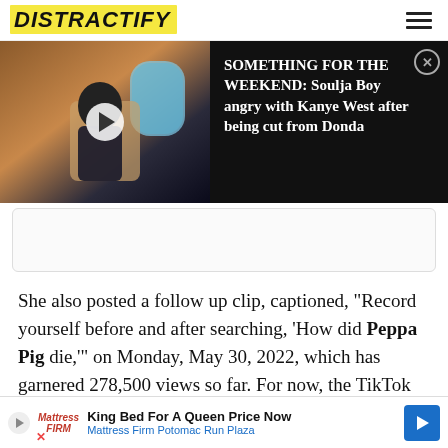DISTRACTIFY
[Figure (screenshot): Video thumbnail showing a person on a private jet with a play button overlay, next to a dark panel with headline: SOMETHING FOR THE WEEKEND: Soulja Boy angry with Kanye West after being cut from Donda]
She also posted a follow up clip, captioned, "Record yourself before and after searching, 'How did Peppa Pig die,'" on Monday, May 30, 2022, which has garnered 278,500 views so far. For now, the TikTok craze about the death o[f]
[Figure (screenshot): Bottom advertisement: King Bed For A Queen Price Now - Mattress Firm Potomac Run Plaza]